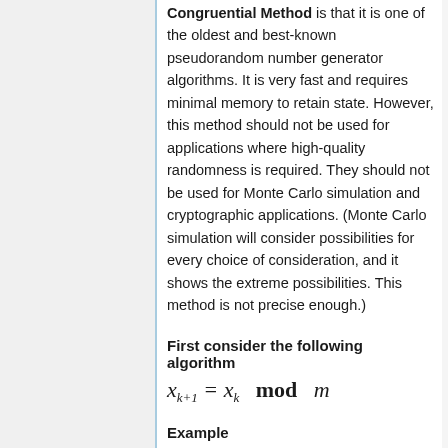Congruential Method is that it is one of the oldest and best-known pseudorandom number generator algorithms. It is very fast and requires minimal memory to retain state. However, this method should not be used for applications where high-quality randomness is required. They should not be used for Monte Carlo simulation and cryptographic applications. (Monte Carlo simulation will consider possibilities for every choice of consideration, and it shows the extreme possibilities. This method is not precise enough.)
First consider the following algorithm
Example